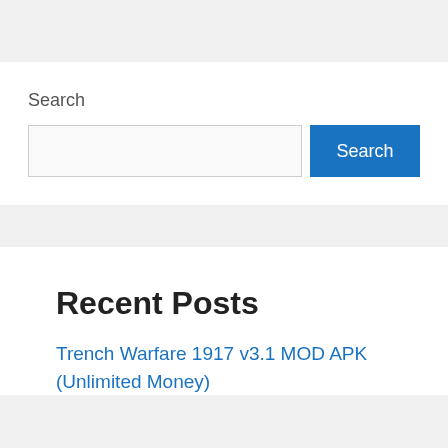Search
Recent Posts
Trench Warfare 1917 v3.1 MOD APK (Unlimited Money)